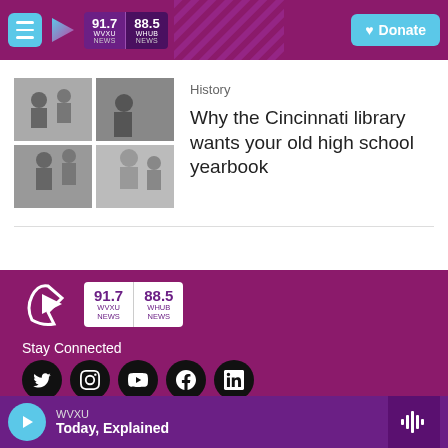WVXU 91.7 NEWS | 88.5 WHUB NEWS | Donate
[Figure (photo): Black and white collage of four photos showing groups of people, historical school scenes]
History
Why the Cincinnati library wants your old high school yearbook
[Figure (logo): WVXU 91.7 NEWS | 88.5 WHUB NEWS logo in footer]
Stay Connected
[Figure (other): Social media icons: Twitter, Instagram, YouTube, Facebook, LinkedIn]
WVXU Today, Explained